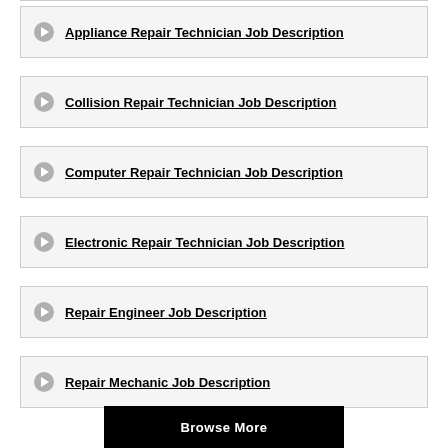Appliance Repair Technician Job Description
Collision Repair Technician Job Description
Computer Repair Technician Job Description
Electronic Repair Technician Job Description
Repair Engineer Job Description
Repair Mechanic Job Description
Browse More